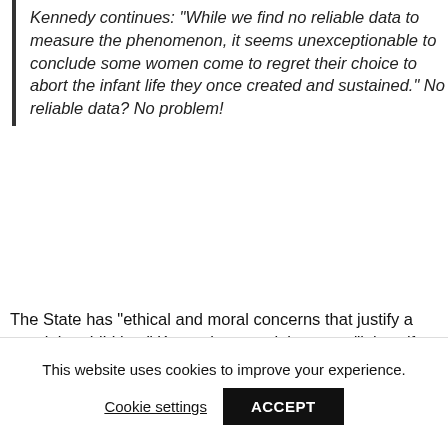Kennedy continues: "While we find no reliable data to measure the phenomenon, it seems unexceptionable to conclude some women come to regret their choice to abort the infant life they once created and sustained." No reliable data? No problem!
The State has "ethical and moral concerns that justify a special prohibition," Kennedy argued, because "it is self-evident that a mother who comes to regret her choice to abort must struggle with grief more anguished and sorrow more profound when she learns" the details of the abortion procedure.
As Marcus suggests, Kennedy's mantra of "no data, no problem" was never justifiable as a matter of either law or science, and to be sure, is no longer operative.
Unfortunately, that came too late for the reproductive
This website uses cookies to improve your experience.
Cookie settings
ACCEPT